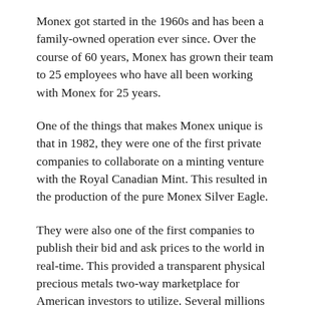Monex got started in the 1960s and has been a family-owned operation ever since. Over the course of 60 years, Monex has grown their team to 25 employees who have all been working with Monex for 25 years.
One of the things that makes Monex unique is that in 1982, they were one of the first private companies to collaborate on a minting venture with the Royal Canadian Mint. This resulted in the production of the pure Monex Silver Eagle.
They were also one of the first companies to publish their bid and ask prices to the world in real-time. This provided a transparent physical precious metals two-way marketplace for American investors to utilize. Several millions of visitors still rely on the Monex Live Prices page every quarter, and they have closed over $60 billion in customer transactions since their inception.